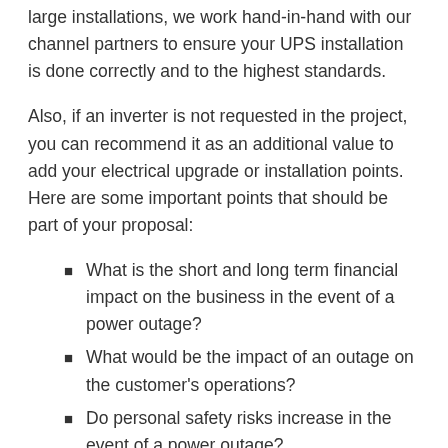large installations, we work hand-in-hand with our channel partners to ensure your UPS installation is done correctly and to the highest standards.
Also, if an inverter is not requested in the project, you can recommend it as an additional value to add your electrical upgrade or installation points. Here are some important points that should be part of your proposal:
What is the short and long term financial impact on the business in the event of a power outage?
What would be the impact of an outage on the customer's operations?
Do personal safety risks increase in the event of a power outage?
In the case of a high-end residential customer, how would they benefit from UPS for communications, surveillance, gaming, remote work and remote learning?